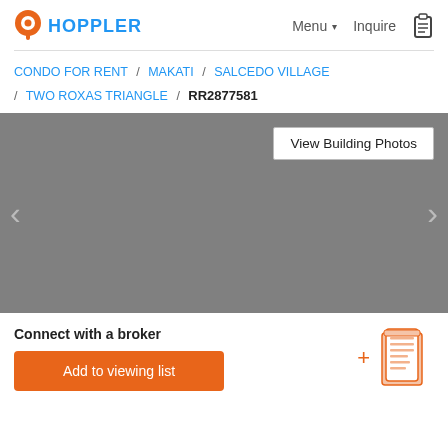HOPPLER  Menu ▾  Inquire
CONDO FOR RENT / MAKATI / SALCEDO VILLAGE / TWO ROXAS TRIANGLE / RR2877581
[Figure (photo): Gray placeholder image area for property photo with left/right navigation arrows and View Building Photos button]
Connect with a broker
Add to viewing list